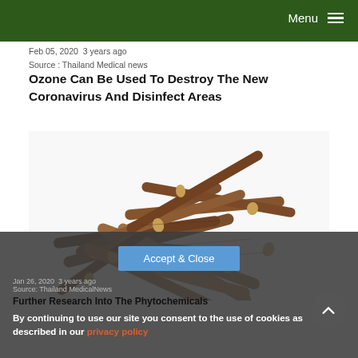Menu
Feb 05, 2020 3 years ago
Source : Thailand Medical news
Ozone Can Be Used To Destroy The New Coronavirus And Disinfect Areas
[Figure (photo): A pile of dried bark/root sticks (possibly licorice root or similar herbal sticks) arranged loosely on a white background.]
By continuing to use our site you consent to the use of cookies as described in our privacy policy
Jan 26, 2020 3 years ago
Source: Thailand MedicalNews
Further Research Into The Phytochemicals